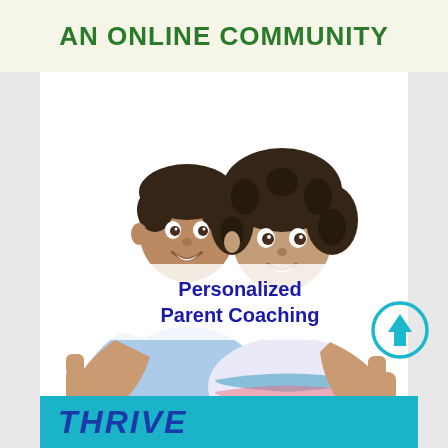AN ONLINE COMMUNITY
[Figure (photo): Two smiling African-American children giving thumbs up, boy on left in light blue shirt, girl on right in striped top, white background]
Personalized Parent Coaching
[Figure (other): Teal circular scroll-to-top button with upward arrow]
THRIVE